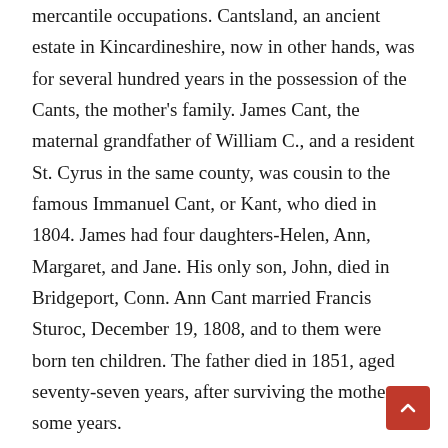mercantile occupations. Cantsland, an ancient estate in Kincardineshire, now in other hands, was for several hundred years in the possession of the Cants, the mother's family. James Cant, the maternal grandfather of William C., and a resident St. Cyrus in the same county, was cousin to the famous Immanuel Cant, or Kant, who died in 1804. James had four daughters-Helen, Ann, Margaret, and Jane. His only son, John, died in Bridgeport, Conn. Ann Cant married Francis Sturoc, December 19, 1808, and to them were born ten children. The father died in 1851, aged seventy-seven years, after surviving the mother some years.
William Cant, the ninth child of his parents, spent his earliest years in Arbroath, Forfarshire, Scotland, there obtaining h…